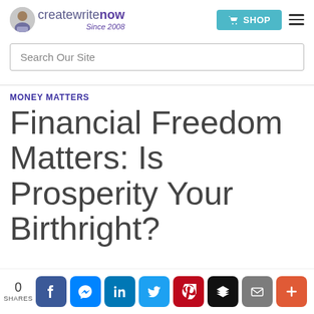createwritenow Since 2008 | SHOP
Search Our Site
MONEY MATTERS
Financial Freedom Matters: Is Prosperity Your Birthright?
0 SHARES